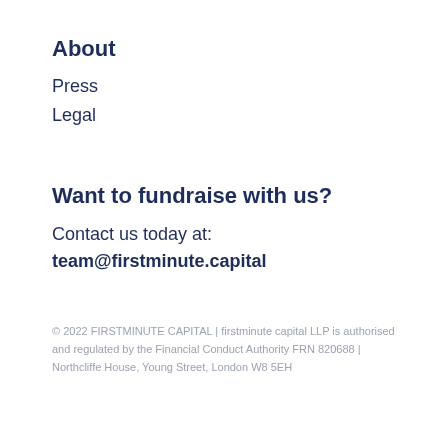About
Press
Legal
Want to fundraise with us?
Contact us today at:
team@firstminute.capital
© 2022 FIRSTMINUTE CAPITAL | firstminute capital LLP is authorised and regulated by the Financial Conduct Authority FRN 820688 | Northcliffe House, Young Street, London W8 5EH